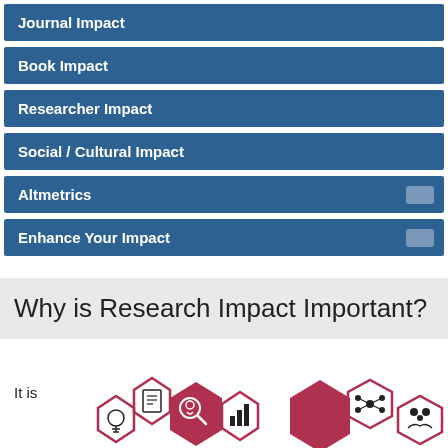Journal Impact
Book Impact
Researcher Impact
Social / Cultural Impact
Altmetrics
Enhance Your Impact
Why is Research Impact Important?
It is
[Figure (infographic): Hexagonal icon grid showing research impact concepts with icons for search/person, network/connections, and group/community, rendered in dark red/crimson and outlined hexagon shapes]